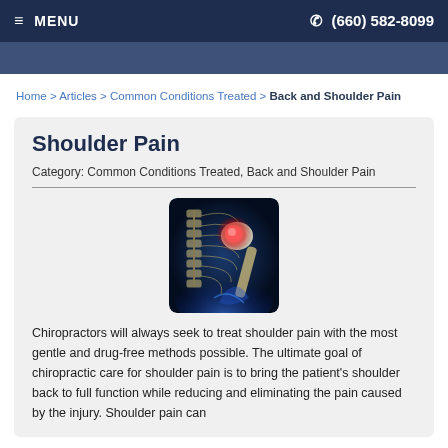≡ MENU   (660) 582-8099
Home > Articles > Common Conditions Treated > Back and Shoulder Pain
Shoulder Pain
Category: Common Conditions Treated, Back and Shoulder Pain
[Figure (photo): Medical illustration of shoulder skeletal anatomy with glowing red pain highlight at the shoulder joint, on a dark blue background.]
Chiropractors will always seek to treat shoulder pain with the most gentle and drug-free methods possible. The ultimate goal of chiropractic care for shoulder pain is to bring the patient's shoulder back to full function while reducing and eliminating the pain caused by the injury. Shoulder pain can